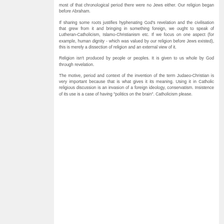most of that chronological period there were no Jews either. Our religion began before Abraham.
If sharing some roots justifies hyphenating God's revelation and the civilisation that grew from it and bringing in something foreign, we ought to speak of Lutheran-Catholicism, Islamo-Christianism etc. If we focus on one aspect (for example, human dignity - which was valued by our religion before Jews existed), this is merely a dissection of religion and an external view of it.
Religion isn't produced by people or peoples. It is given to us whole by God through revelation.
The motive, period and context of the invention of the term Judaeo-Christian is very important because that is what gives it its meaning. Using it in Catholic religious discussion is an invasion of a foreign ideology, conservatism. Insistence of its use is a case of having "politics on the brain". Catholicism please.